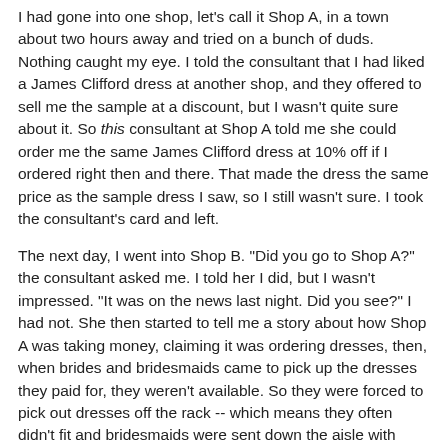I had gone into one shop, let's call it Shop A, in a town about two hours away and tried on a bunch of duds. Nothing caught my eye. I told the consultant that I had liked a James Clifford dress at another shop, and they offered to sell me the sample at a discount, but I wasn't quite sure about it. So this consultant at Shop A told me she could order me the same James Clifford dress at 10% off if I ordered right then and there. That made the dress the same price as the sample dress I saw, so I still wasn't sure. I took the consultant's card and left.
The next day, I went into Shop B. "Did you go to Shop A?" the consultant asked me. I told her I did, but I wasn't impressed. "It was on the news last night. Did you see?" I had not. She then started to tell me a story about how Shop A was taking money, claiming it was ordering dresses, then, when brides and bridesmaids came to pick up the dresses they paid for, they weren't available. So they were forced to pick out dresses off the rack -- which means they often didn't fit and bridesmaids were sent down the aisle with clips down their backs.